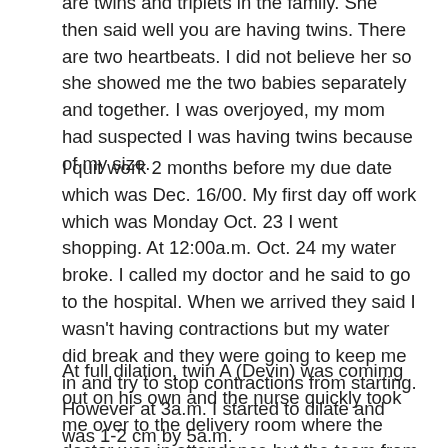are twins and triplets in the family. She then said well you are having twins. There are two heartbeats. I did not believe her so she showed me the two babies separately and together. I was overjoyed, my mom had suspected I was having twins because of my size.
I quit work 2 months before my due date which was Dec. 16/00. My first day off work which was Monday Oct. 23 I went shopping. At 12:00a.m. Oct. 24 my water broke. I called my doctor and he said to go to the hospital. When we arrived they said I wasn't having contractions but my water did break and they were going to keep me in and try to stop contractions from starting. However at 3a.m. I started to dilate and was 1-2 cm by 5a.m.
At full dilation, twin A (Devin) was comimg out on his own and the nurse quickly took me over to the delivery room where the doctor was in attendance but the team from the N.I.C.U had not arrived. The doctor tried to hold Devin in